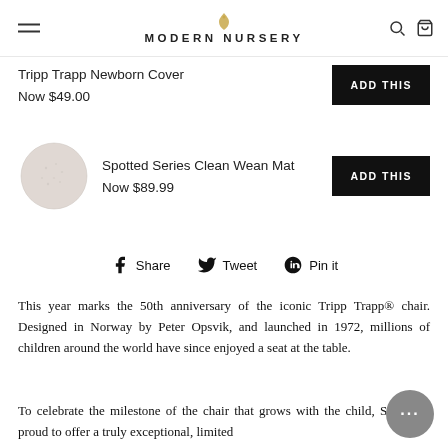MODERN NURSERY
Tripp Trapp Newborn Cover
Now $49.00
ADD THIS
[Figure (photo): Circular product image of Spotted Series Clean Wean Mat in light beige/blush color]
Spotted Series Clean Wean Mat
Now $89.99
ADD THIS
Share   Tweet   Pin it
This year marks the 50th anniversary of the iconic Tripp Trapp® chair. Designed in Norway by Peter Opsvik, and launched in 1972, millions of children around the world have since enjoyed a seat at the table.
To celebrate the milestone of the chair that grows with the child, Stokke is proud to offer a truly exceptional, limited